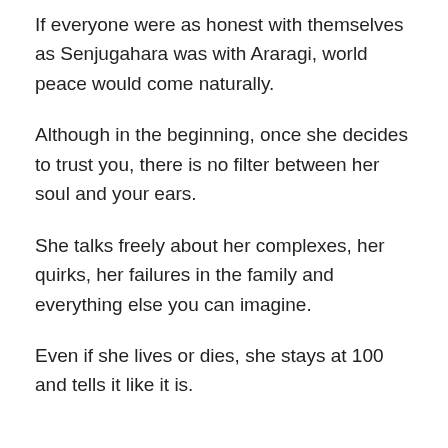If everyone were as honest with themselves as Senjugahara was with Araragi, world peace would come naturally.
Although in the beginning, once she decides to trust you, there is no filter between her soul and your ears.
She talks freely about her complexes, her quirks, her failures in the family and everything else you can imagine.
Even if she lives or dies, she stays at 100 and tells it like it is.